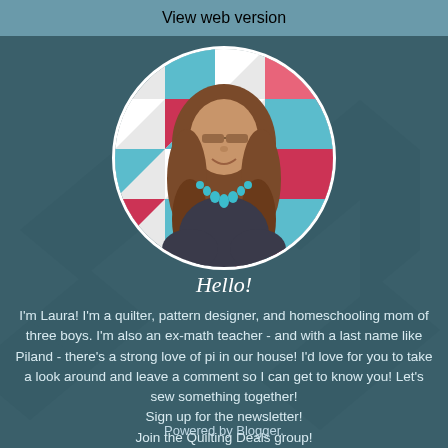View web version
[Figure (photo): Circular portrait photo of a woman with long wavy brown hair, wearing a dark shirt and teal beaded necklace, smiling, with a colorful quilt pattern in the background]
Hello!
I'm Laura! I'm a quilter, pattern designer, and homeschooling mom of three boys. I'm also an ex-math teacher - and with a last name like Piland - there's a strong love of pi in our house! I'd love for you to take a look around and leave a comment so I can get to know you! Let's sew something together!
Sign up for the newsletter!
Join the Quilting Deals group!
Powered by Blogger.